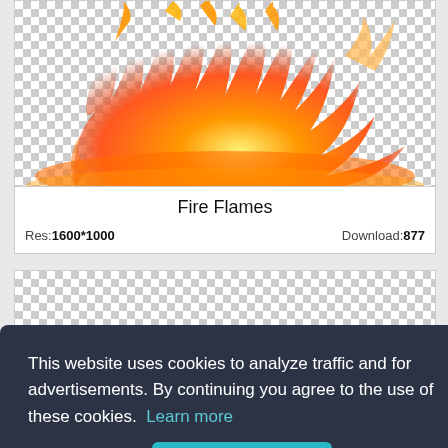[Figure (photo): Fire flames image with transparent/checkered background. Orange and yellow flames rising from the bottom. Resolution 1600x1000.]
Fire Flames
Res: 1600*1000   Download: 877
[Figure (photo): Second image card with checkered transparent background, partially visible.]
[Figure (photo): Third image card with checkered transparent background, partially visible at bottom.]
This website uses cookies to analyze traffic and for advertisements. By continuing you agree to the use of these cookies. Learn more
Got it!